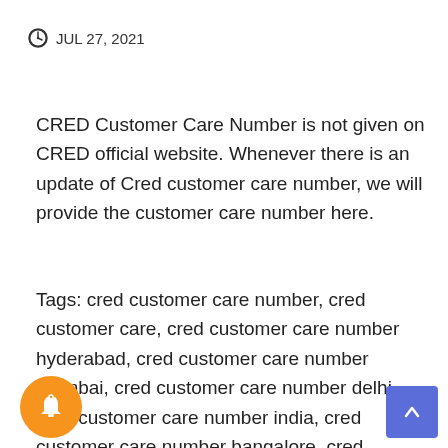JUL 27, 2021
CRED Customer Care Number is not given on CRED official website. Whenever there is an update of Cred customer care number, we will provide the customer care number here.
Tags: cred customer care number, cred customer care, cred customer care number hyderabad, cred customer care number mumbai, cred customer care number delhi, cred customer care number india, cred customer care number bangalore, cred customer care number pune, cred customer